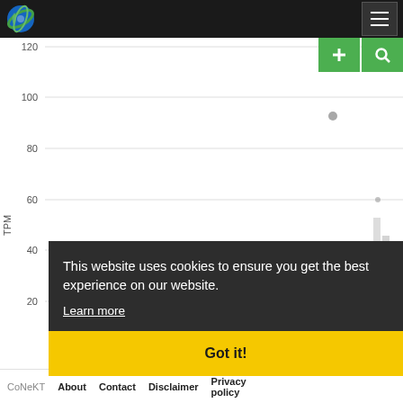CoNeKT website header with logo and hamburger menu
[Figure (continuous-plot): Scatter/dot plot with y-axis labeled TPM, y-axis ticks at 20, 40, 60(partial), 80, 100, 120. A single gray dot is visible near y=93. The right portion of the chart shows a dense bar/dot cluster partially obscured by a cookie consent overlay.]
This website uses cookies to ensure you get the best experience on our website.
Learn more
Got it!
CoNeKT   About   Contact   Disclaimer   Privacy policy